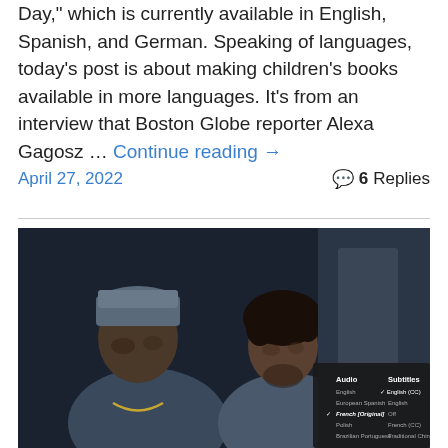Day," which is currently available in English, Spanish, and German. Speaking of languages, today's post is about making children's books available in more languages. It's from an interview that Boston Globe reporter Alexa Gagosz … Continue reading →
April 27, 2022    💬 6 Replies
[Figure (photo): Dark scene with two people in foreground; an overlay menu shows Audio options (English, European Spanish, French [Original] checked, Polish, Brazilian Portuguese) and Subtitles options (English (CC) checked, English, Off, French (CC), Traditional Chinese)]